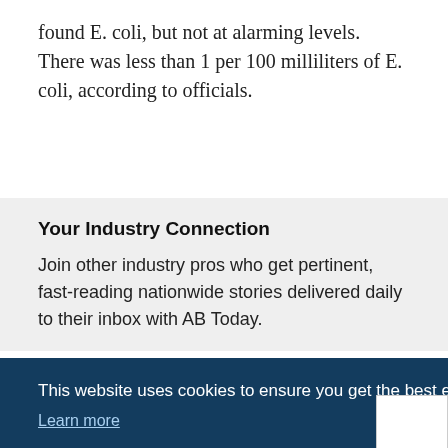found E. coli, but not at alarming levels. There was less than 1 per 100 milliliters of E. coli, according to officials.
Your Industry Connection
Join other industry pros who get pertinent, fast-reading nationwide stories delivered daily to their inbox with AB Today.
This website uses cookies to ensure you get the best experience on our website. Learn more
Got it!